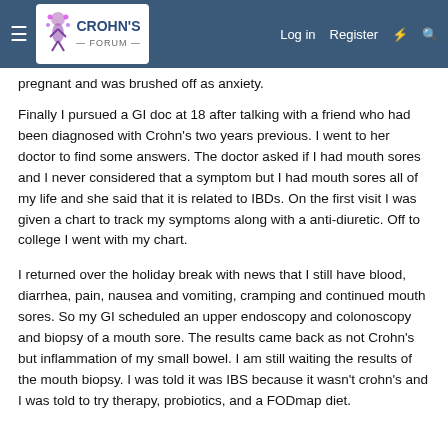Crohn's Forum — Log in | Register
pregnant and was brushed off as anxiety.
Finally I pursued a GI doc at 18 after talking with a friend who had been diagnosed with Crohn's two years previous. I went to her doctor to find some answers. The doctor asked if I had mouth sores and I never considered that a symptom but I had mouth sores all of my life and she said that it is related to IBDs. On the first visit I was given a chart to track my symptoms along with a anti-diuretic. Off to college I went with my chart.
I returned over the holiday break with news that I still have blood, diarrhea, pain, nausea and vomiting, cramping and continued mouth sores. So my GI scheduled an upper endoscopy and colonoscopy and biopsy of a mouth sore. The results came back as not Crohn's but inflammation of my small bowel. I am still waiting the results of the mouth biopsy. I was told it was IBS because it wasn't crohn's and I was told to try therapy, probiotics, and a FODmap diet.